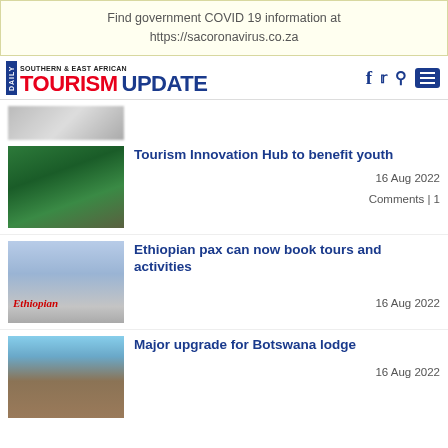Find government COVID 19 information at https://sacoronavirus.co.za
DAILY SOUTHERN & EAST AFRICAN TOURISM UPDATE
[Figure (photo): Partial top image, blurred]
Tourism Innovation Hub to benefit youth
16 Aug 2022
Comments | 1
[Figure (photo): Group of people at Tourism Innovation Hub event]
Ethiopian pax can now book tours and activities
16 Aug 2022
[Figure (photo): Ethiopian Airlines aircraft on tarmac]
Major upgrade for Botswana lodge
16 Aug 2022
[Figure (photo): Botswana lodge with curved roof structure under blue sky]